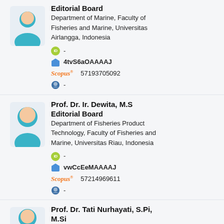[Figure (illustration): Generic person avatar icon (teal/light blue body, peach head) for editorial board member]
Editorial Board
Department of Marine, Faculty of Fisheries and Marine, Universitas Airlangga, Indonesia
ID -
4tvS6aOAAAAJ
Scopus 57193705092
-
[Figure (illustration): Generic person avatar icon (teal/light blue body, peach head) for Prof. Dr. Ir. Dewita]
Prof. Dr. Ir. Dewita, M.S
Editorial Board
Department of Fisheries Product Technology, Faculty of Fisheries and Marine, Universitas Riau, Indonesia
ID -
vwCcEeMAAAAJ
Scopus 57214969611
-
[Figure (illustration): Generic person avatar icon (teal/light blue body, peach head) for Prof. Dr. Tati Nurhayati]
Prof. Dr. Tati Nurhayati, S.Pi, M.Si